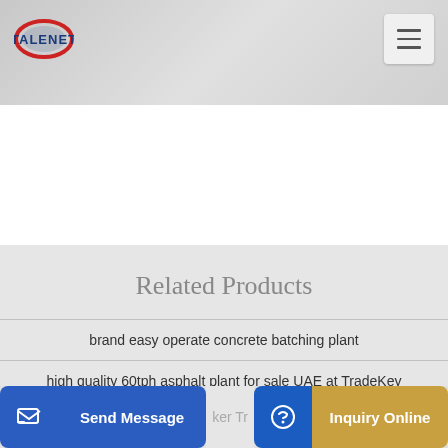TALENET
Related Products
brand easy operate concrete batching plant
high quality 60tph asphalt plant for sale UAE at TradeKey
Send Message   Inquiry Online